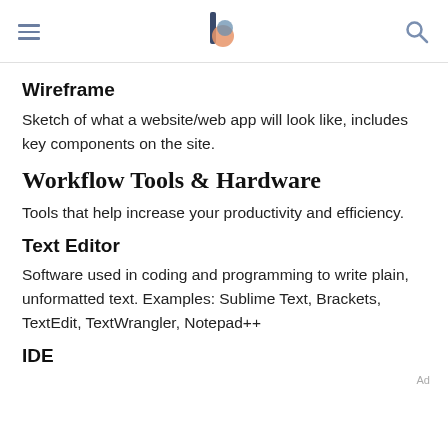[navigation header with hamburger menu, logo, and search icon]
Wireframe
Sketch of what a website/web app will look like, includes key components on the site.
Workflow Tools & Hardware
Tools that help increase your productivity and efficiency.
Text Editor
Software used in coding and programming to write plain, unformatted text. Examples: Sublime Text, Brackets, TextEdit, TextWrangler, Notepad++
Ad
IDE